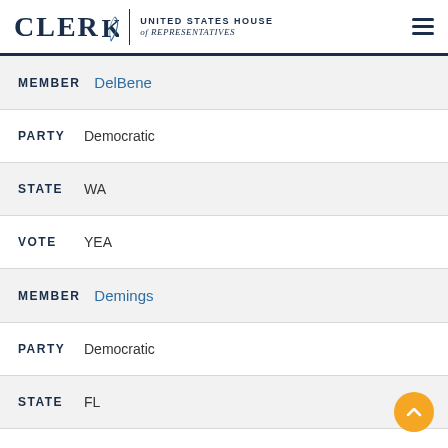CLERK United States House of Representatives
MEMBER DelBene
PARTY Democratic
STATE WA
VOTE YEA
MEMBER Demings
PARTY Democratic
STATE FL